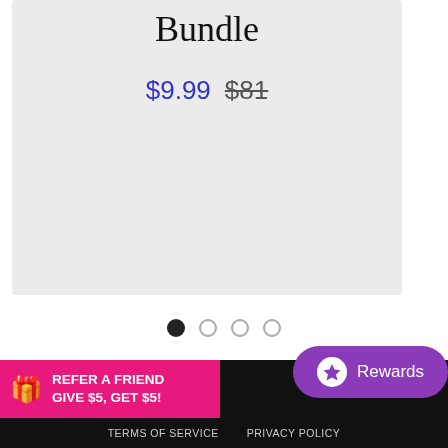Bundle
$9.99  $81
[Figure (other): Carousel navigation dots — one filled black dot and three empty circle dots]
REFER A FRIEND GIVE $5, GET $5!
Rewards
TERMS OF SERVICE   PRIVACY POLICY